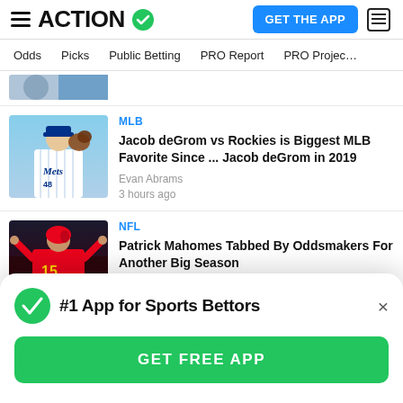ACTION (logo with checkmark) | GET THE APP | News icon
Odds | Picks | Public Betting | PRO Report | PRO Projec…
[Figure (photo): Partial top of an article card with thumbnail images]
MLB
Jacob deGrom vs Rockies is Biggest MLB Favorite Since ... Jacob deGrom in 2019
Evan Abrams
3 hours ago
[Figure (photo): Photo of New York Mets pitcher #48 in blue pinstripe uniform with glove raised]
NFL
Patrick Mahomes Tabbed By Oddsmakers For Another Big Season
[Figure (photo): Photo of Patrick Mahomes #15 in Kansas City Chiefs red uniform with arms raised]
#1 App for Sports Bettors
GET FREE APP